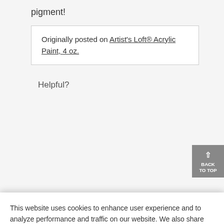pigment!
Originally posted on Artist's Loft® Acrylic Paint, 4 oz.
Helpful?
[Figure (other): Back to Top button - gray rounded button with upward arrow and text BACK TO TOP]
This website uses cookies to enhance user experience and to analyze performance and traffic on our website. We also share information about your use of our site with our social media, advertising and analytics partners. To learn more about cookies, including how to disable them, click on Cookie Preferences.
Cookie Preferences
Got It
Originally posted on Artist's Loft® Acrylic Paint, 4 oz.